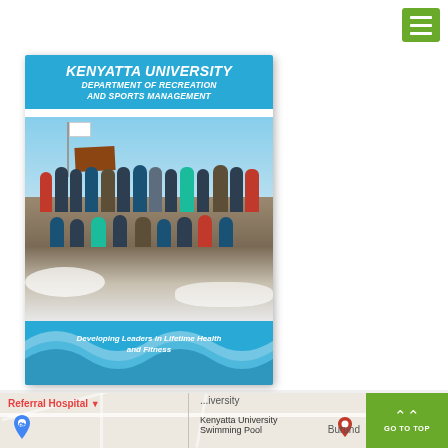[Figure (screenshot): Navigation menu button (hamburger) — green square with three white horizontal lines, top-right corner of page]
[Figure (photo): Book cover for Kenyatta University Department of Recreation and Sports Management. Blue background with text 'KENYATTA UNIVERSITY DEPARTMENT OF RECREATION AND SPORTS MANAGEMENT' at top. Center shows a group photo of people in winter gear on a mountain summit with a flag and sign. Bottom has wave decoration and text 'Developing Leaders in Lifetime Health and Fitness'.]
[Figure (map): Google Maps partial screenshot showing Kenyatta University area with labels: 'Referral Hospital', 'Kenyatta University Swimming Pool', and 'Burund'. Map pins visible.]
[Figure (screenshot): Green 'GO TO TOP' button with double chevron/arrow icon, bottom-right corner]